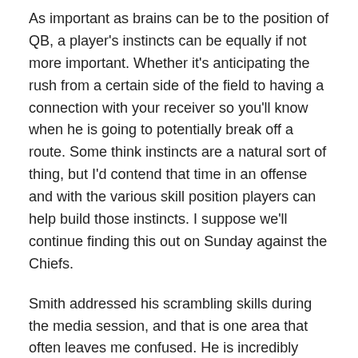As important as brains can be to the position of QB, a player's instincts can be equally if not more important. Whether it's anticipating the rush from a certain side of the field to having a connection with your receiver so you'll know when he is going to potentially break off a route. Some think instincts are a natural sort of thing, but I'd contend that time in an offense and with the various skill position players can help build those instincts. I suppose we'll continue finding this out on Sunday against the Chiefs.
Smith addressed his scrambling skills during the media session, and that is one area that often leaves me confused. He is incredibly athletic and can look completely naturally scrambling in the pocket and then out for a 12 yard gain. And then other times it seems